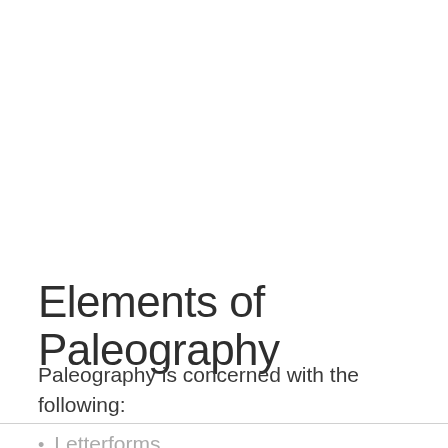Elements of Paleography
Paleography is concerned with the following:
Letterforms